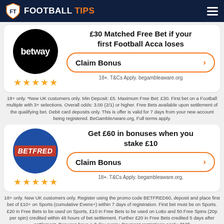FOOTBALL TIPS
£30 Matched Free Bet if your first Football Acca loses
Claim Bonus
18+. T&Cs Apply. begambleaware.org
18+ only. *New UK customers only. Min Deposit: £5. Maximum Free Bet: £30. First bet on a Football multiple with 3+ selections. Overall odds: 3.00 (2/1) or higher. Free Bets available upon settlement of the qualifying bet. Debit card deposits only. This is offer is valid for 7 days from your new account being registered. BeGambleAware.org, Full terms apply.
Get £60 in bonuses when you stake £10
Claim Bonus
18+. T&Cs Apply. begambleaware.org.
18+ only. New UK customers only. Register using the promo code BETFRED60, deposit and place first bet of £10+ on Sports (cumulative Evens+) within 7 days of registration. First bet must be on Sports. £20 in Free Bets to be used on Sports, £10 in Free Bets to be used on Lotto and 50 Free Spins (20p per spin) credited within 48 hours of bet settlement. Further £20 in Free Bets credited 5 days after settlement. Bonuses have a 7 day expiry. Payment restrictions apply. SMS verification and/or Proof of I.D and address may be required. Full T&Cs apply.